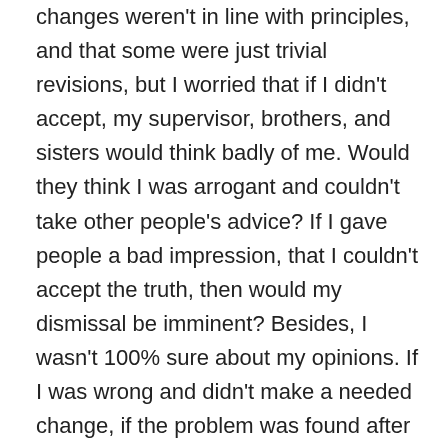changes weren't in line with principles, and that some were just trivial revisions, but I worried that if I didn't accept, my supervisor, brothers, and sisters would think badly of me. Would they think I was arrogant and couldn't take other people's advice? If I gave people a bad impression, that I couldn't accept the truth, then would my dismissal be imminent? Besides, I wasn't 100% sure about my opinions. If I was wrong and didn't make a needed change, if the problem was found after the video went online, I would bear responsibility. After thinking about it, to be on the safe side, I made all the suggested revisions. Sometimes I heard different suggestions, so I made multiple versions